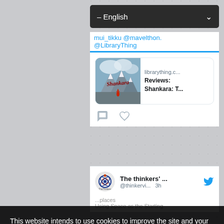[Figure (screenshot): Screenshot of a Twitter/social media feed showing a tweet with a link preview card for 'librarything.c...' with title 'Reviews: Shankara: T...' and a book cover image. Below is another tweet from 'The thinkers' ... @thinkervi... 3h'. A language selector dropdown showing '– English' is visible at the top. A cookie consent overlay banner covers the bottom portion with text 'This website intends to use cookies to improve the site and your experience. By continuing to browse the site you are agreeing to accept our use of cookies.' with a 'Privacy Preferences' link and an 'I Agree' button.]